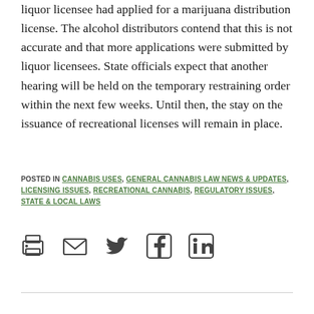liquor licensee had applied for a marijuana distribution license. The alcohol distributors contend that this is not accurate and that more applications were submitted by liquor licensees. State officials expect that another hearing will be held on the temporary restraining order within the next few weeks. Until then, the stay on the issuance of recreational licenses will remain in place.
POSTED IN CANNABIS USES, GENERAL CANNABIS LAW NEWS & UPDATES, LICENSING ISSUES, RECREATIONAL CANNABIS, REGULATORY ISSUES, STATE & LOCAL LAWS
[Figure (other): Social sharing icons: print, email, Twitter, Facebook, LinkedIn]